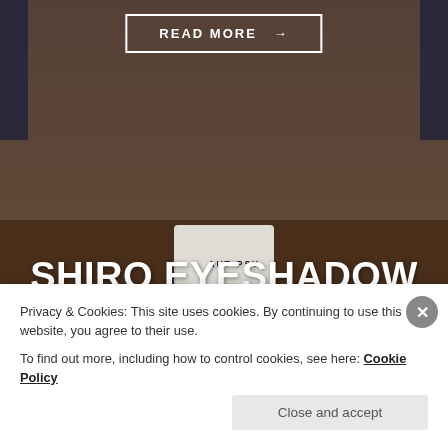[Figure (screenshot): Top section showing a 'READ MORE →' button with white border on a dark brownish background with dark side panels and what appears to be product packaging]
SHIRO EYESHADOW SAMPLES – PART 2
Welcome to Round 2 of the Shiro sample sale order!
Privacy & Cookies: This site uses cookies. By continuing to use this website, you agree to their use.
To find out more, including how to control cookies, see here: Cookie Policy
Close and accept